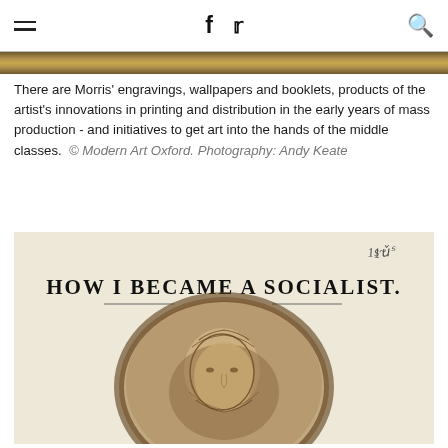≡  f  𝕏  🔍
[Figure (photo): Top edge of a framed artwork or display case with a golden-brown bar]
There are Morris' engravings, wallpapers and booklets, products of the artist's innovations in printing and distribution in the early years of mass production - and initiatives to get art into the hands of the middle classes. © Modern Art Oxford. Photography: Andy Keate
[Figure (photo): Photograph of a booklet cover titled 'HOW I BECAME A SOCIALIST.' with an oval portrait engraving of a bearded man, handwritten '1s' at top right, and a decorative ornament below the title text.]